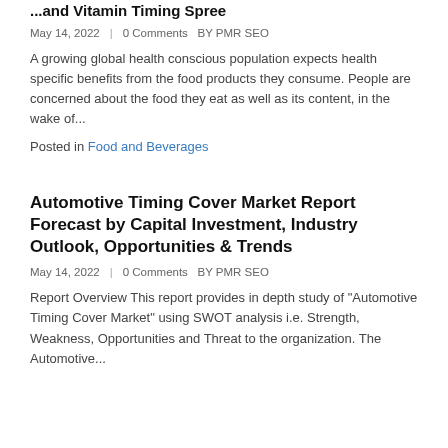...and Vitamin Timing Spree
May 14, 2022  |  0 Comments  BY PMR SEO
A growing global health conscious population expects health specific benefits from the food products they consume. People are concerned about the food they eat as well as its content, in the wake of...
Posted in Food and Beverages
Automotive Timing Cover Market Report Forecast by Capital Investment, Industry Outlook, Opportunities & Trends
May 14, 2022  |  0 Comments  BY PMR SEO
Report Overview This report provides in depth study of "Automotive Timing Cover Market" using SWOT analysis i.e. Strength, Weakness, Opportunities and Threat to the organization. The Automotive...